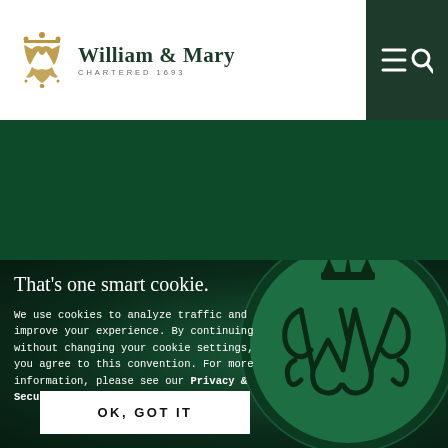William & Mary | Chartered 1693
[Figure (screenshot): William & Mary university logo with gold cypher and wordmark 'William & Mary Chartered 1693' on white header bar with dark green navigation icons on right]
[Figure (photo): Dark green textured background with William & Mary wax seal showing royal cypher with crown]
That's one smart cookie.
We use cookies to analyze traffic and improve your experience. By continuing without changing your cookie settings, you agree to this convention. For more information, please see our Privacy & Security Statement.
OK, GOT IT